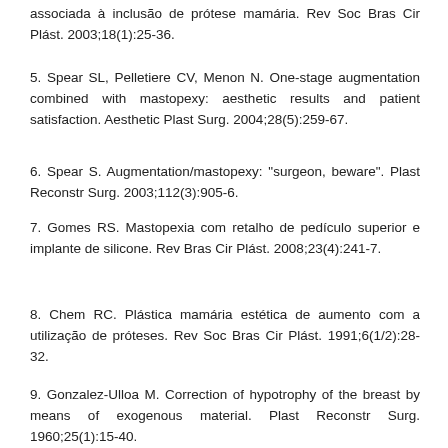associada à inclusão de prótese mamária. Rev Soc Bras Cir Plást. 2003;18(1):25-36.
5. Spear SL, Pelletiere CV, Menon N. One-stage augmentation combined with mastopexy: aesthetic results and patient satisfaction. Aesthetic Plast Surg. 2004;28(5):259-67.
6. Spear S. Augmentation/mastopexy: "surgeon, beware". Plast Reconstr Surg. 2003;112(3):905-6.
7. Gomes RS. Mastopexia com retalho de pedículo superior e implante de silicone. Rev Bras Cir Plást. 2008;23(4):241-7.
8. Chem RC. Plástica mamária estética de aumento com a utilização de próteses. Rev Soc Bras Cir Plást. 1991;6(1/2):28-32.
9. Gonzalez-Ulloa M. Correction of hypotrophy of the breast by means of exogenous material. Plast Reconstr Surg. 1960;25(1):15-40.